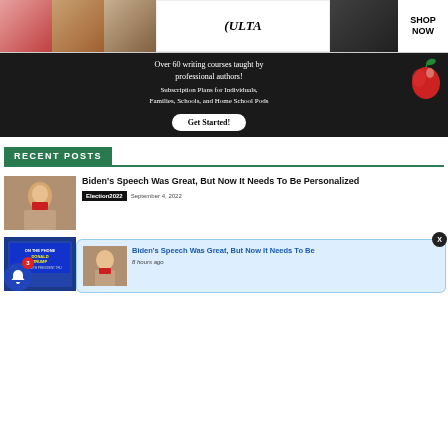[Figure (advertisement): Ulta beauty advertisement banner with makeup imagery (lips, brushes, eyes), Ulta logo, Shop Now button]
[Figure (advertisement): TARC Classroom writing courses ad: Over 60 writing courses taught by professional authors! Subscription Plans for Individuals, Families, Schools, and Home School Pods. Get Started! button with apple graphic]
RECENT POSTS
[Figure (photo): Thumbnail photo of Donald Trump]
Biden's Speech Was Great, But Now It Needs To Be Personalized
Election2022   September 4, 2022
[Figure (photo): Thumbnail of TV screen showing Donald Trump on the phone]
[Figure (screenshot): Notification popup with thumbnail of Trump, title: Biden's Speech Was Great, But Now It Needs To Be, time: 8 hours ago]
Opinion   September 4, 2022   CLOSE